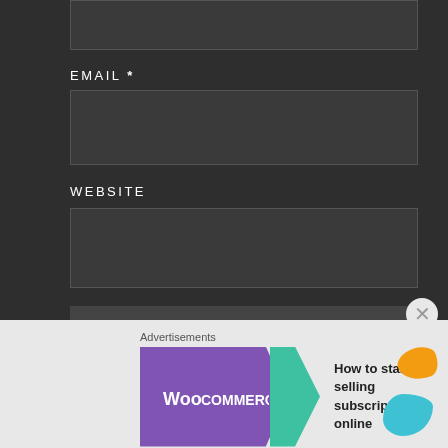EMAIL *
WEBSITE
POST COMMENT
Notify me of new comments via email.
Notify me of new posts via email.
Advertisements
[Figure (logo): WooCommerce advertisement banner with purple logo, teal arrow, tagline 'How to start selling subscriptions online', orange and teal decorative blobs]